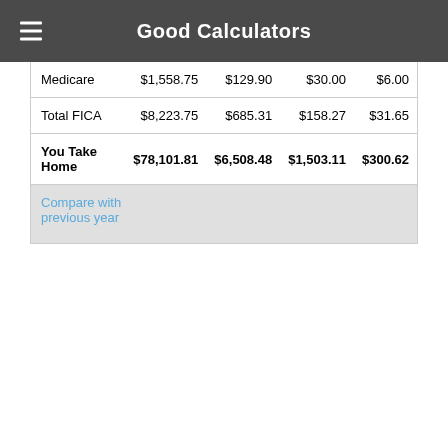Good Calculators
| Medicare | $1,558.75 | $129.90 | $30.00 | $6.00 |
| Total FICA | $8,223.75 | $685.31 | $158.27 | $31.65 |
| You Take Home | $78,101.81 | $6,508.48 | $1,503.11 | $300.62 |
Compare with previous year